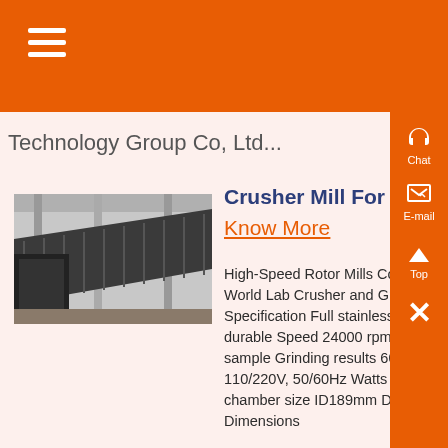Technology Group Co, Ltd...
Crusher Mill For 600 Mesh
Know More
[Figure (photo): Industrial crusher mill / conveyor equipment photograph showing metal machinery with ribbed panels and mechanical components]
High-Speed Rotor Mills Columbia International, A World Lab Crusher and Grinder FW-600 Specification Full stainless steel structure, very durable Speed 24000 rpm Capacity 600 g sample Grinding results 60-200 mesh Voltage 110/220V, 50/60Hz Watts 1200 watts Working chamber size ID189mm Depth 133mm, 3500ml Dimensions